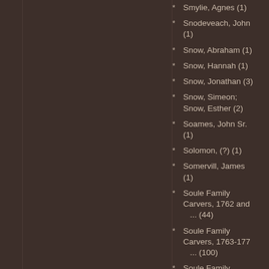Smylie, Agnes (1)
Snodeveach, John (1)
Snow, Abraham (1)
Snow, Hannah (1)
Snow, Jonathan (3)
Snow, Simeon; Snow, Esther (2)
Soames, John Sr. (1)
Solomon, (?) (1)
Somervill, James (1)
Soule Family Carvers, 1762 and ... (44)
Soule Family Carvers, 1763-177 ... (100)
Soule Family Carvers, 1777-179 ... (75)
Soule Family Carvers, 1793 and ... (29)
Soule, Coomer (4)
Soule, Ebenezer Jr. and/or Sou ... (10)